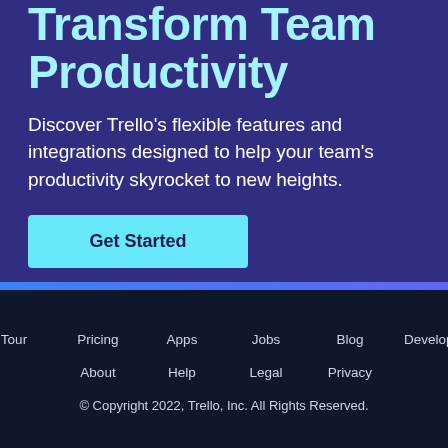Transform Team Productivity
Discover Trello's flexible features and integrations designed to help your team's productivity skyrocket to new heights.
Get Started
Tour  Pricing  Apps  Jobs  Blog  Developers  About  Help  Legal  Privacy  © Copyright 2022, Trello, Inc. All Rights Reserved.